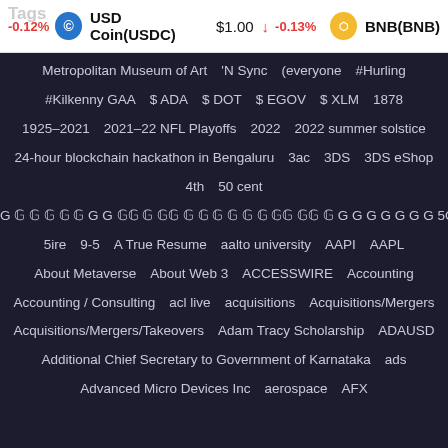Tags
-0.12%  USD Coin(USDC)  $1.00  -0.13%  BNB(BNB)
Metropolitan Museum of Art
'N Sync
(everyone
#Hurling
#Kilkenny GAA
$ ADA
$ DOT
$ EGOV
$ XLM
1878
1925–2021
2021–22 NFL Playoffs
2022
2022 summer solstice
24-hour blockchain hackathon in Bengaluru
3ac
3DS
3DS eShop
4th
50 cent
5G 𝔾 𝔾 𝔾 𝔾 𝔾 G G 𝔾𝔾 𝔾 𝔾𝔾 𝔾 𝔾 𝔾 𝔾 𝔾 𝔾 𝔾𝔾 𝔾𝔾 𝔾 G G G G G G G 5G
5ire
9-5
A True Resume
aalto university
AAPI
AAPL
About Metaverse
About Web 3
ACCESSWIRE
Accounting
Accounting / Consulting
acl live
acquisitions
Acquisitions/Mergers
Acquisitions/Mergers/Takeovers
Adam Tracy Scholarship
ADAUSD
Additional Chief Secretary to Government of Karnataka
ads
Advanced Micro Devices Inc
aerospace
AFX